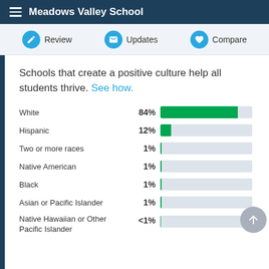Meadows Valley School
Review | Updates | Compare
Schools that create a positive culture help all students thrive. See how.
[Figure (bar-chart): Student demographics]